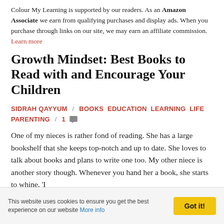Colour My Learning is supported by our readers. As an Amazon Associate we earn from qualifying purchases and display ads. When you purchase through links on our site, we may earn an affiliate commission. Learn more
Growth Mindset: Best Books to Read with and Encourage Your Children
SIDRAH QAYYUM / Books Education Learning Life Parenting / 1 💬
One of my nieces is rather fond of reading. She has a large bookshelf that she keeps top-notch and up to date. She loves to talk about books and plans to write one too. My other niece is another story though. Whenever you hand her a book, she starts to whine, 'I
This website uses cookies to ensure you get the best experience on our website More info